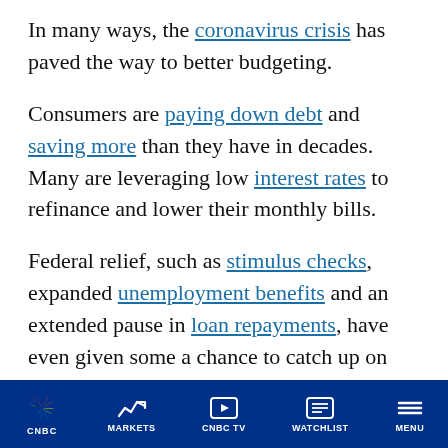In many ways, the coronavirus crisis has paved the way to better budgeting.
Consumers are paying down debt and saving more than they have in decades. Many are leveraging low interest rates to refinance and lower their monthly bills.
Federal relief, such as stimulus checks, expanded unemployment benefits and an extended pause in loan repayments, have even given some a chance to catch up on past-due payments.
Altogether, Americans repaid almost $83 billion
CNBC | MARKETS | CNBC TV | WATCHLIST | MENU